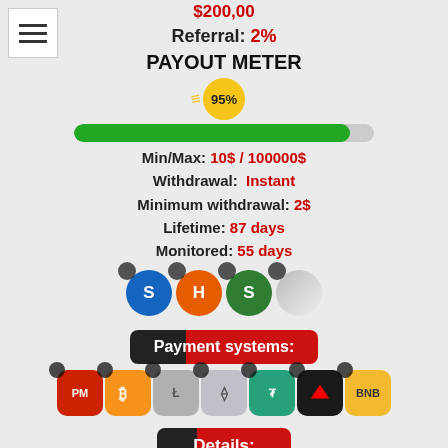Referral: 2%
PAYOUT METER
[Figure (infographic): Payout meter showing 95% with yellow badge and green progress bar]
Min/Max: 10$ / 100000$
Withdrawal: Instant
Minimum withdrawal: 2$
Lifetime: 87 days
Monitored: 55 days
[Figure (illustration): Row of 4 monitoring service icons: blue S, orange H, green S, silver coin]
Payment systems:
[Figure (illustration): Row of 7 payment system icons: PM, Bitcoin, Litecoin, Ethereum, USDT, TRX, BNB]
Details:
[Figure (illustration): Three circular stamp badges: SSL Secure (green), DDOS Protect (black/white), Licensed Script (gold)]